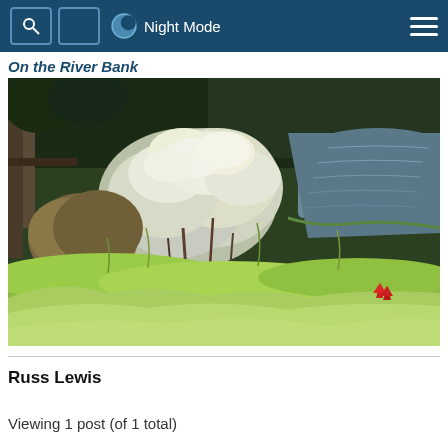Night Mode
On the River Bank
[Figure (photo): Photograph of shrubs and wild vegetation on a river bank, with white flowering bushes in the center, green grass in the foreground, and a river with rippled water visible in the background. Trees and a wooden structure are visible on the left.]
Russ Lewis
Viewing 1 post (of 1 total)